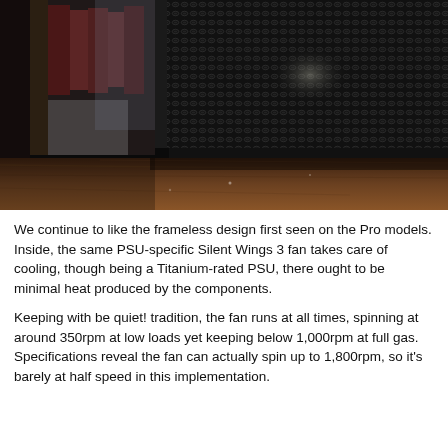[Figure (photo): Close-up photograph of the bottom corner of a black metal mesh PSU (power supply unit) casing sitting on a wooden desk surface, with a blurred bookshelf visible in the background to the left.]
We continue to like the frameless design first seen on the Pro models. Inside, the same PSU-specific Silent Wings 3 fan takes care of cooling, though being a Titanium-rated PSU, there ought to be minimal heat produced by the components.
Keeping with be quiet! tradition, the fan runs at all times, spinning at around 350rpm at low loads yet keeping below 1,000rpm at full gas. Specifications reveal the fan can actually spin up to 1,800rpm, so it's barely at half speed in this implementation.